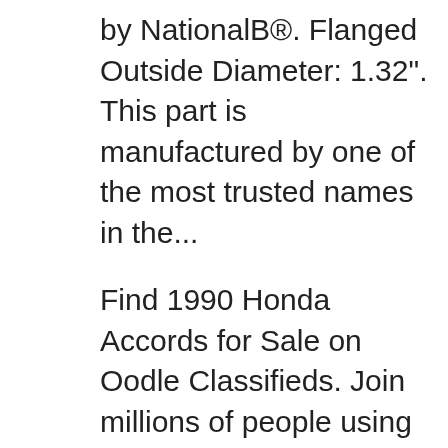by NationalB®. Flanged Outside Diameter: 1.32". This part is manufactured by one of the most trusted names in the...
Find 1990 Honda Accords for Sale on Oodle Classifieds. Join millions of people using Oodle to find unique used cars for sale, certified pre-owned car listings, and new car classifieds. Don't miss what's happening in your neighborhood. Get the best deals on Complete Auto Transmissions for 1990 Honda Accord when you shop the largest online selection at eBay.com. Free shipping on many items Browse your favorite brands affordable prices. Get the best deals on Complete Auto Transmissions